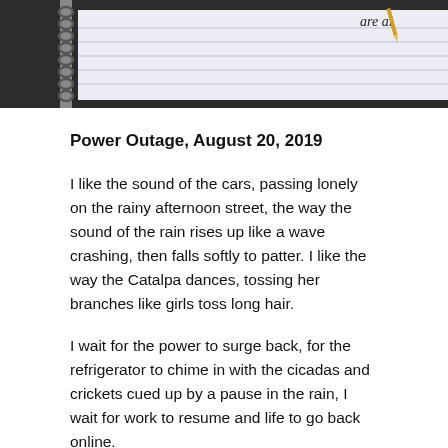[Figure (photo): Photo of a spiral notebook with lined paper, showing handwriting near the top right corner reading 'are al', placed on a dark wooden surface. Only the bottom portion of the photo is visible.]
Power Outage, August 20, 2019
I like the sound of the cars, passing lonely on the rainy afternoon street, the way the sound of the rain rises up like a wave crashing, then falls softly to patter. I like the way the Catalpa dances, tossing her branches like girls toss long hair.
I wait for the power to surge back, for the refrigerator to chime in with the cicadas and crickets cued up by a pause in the rain, I wait for work to resume and life to go back online.
Far away, an alarm siren is hyperventilating, wailing up and down, hiccupping distress. Birds sing and then go